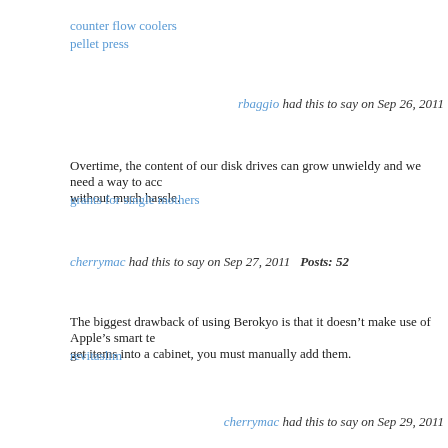counter flow coolers
pellet press
rbaggio had this to say on Sep 26, 2011
Overtime, the content of our disk drives can grow unwieldy and we need a way to access them without much hassle.
grants for single mothers
cherrymac had this to say on Sep 27, 2011    Posts: 52
The biggest drawback of using Berokyo is that it doesn’t make use of Apple’s smart te... get items into a cabinet, you must manually add them.
revitaslim
cherrymac had this to say on Sep 29, 2011